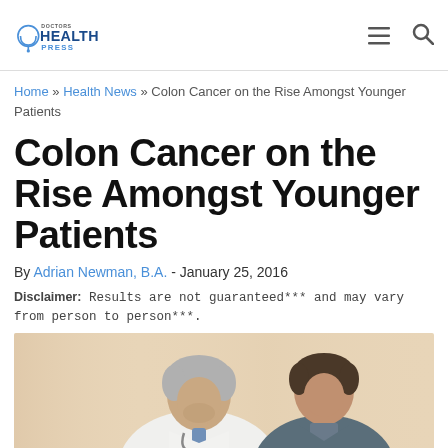Doctors Health Press
Home » Health News » Colon Cancer on the Rise Amongst Younger Patients
Colon Cancer on the Rise Amongst Younger Patients
By Adrian Newman, B.A. - January 25, 2016
Disclaimer: Results are not guaranteed*** and may vary from person to person***.
[Figure (photo): A grey-haired doctor in a white coat consulting with a younger male patient in a medical setting with light-colored drapes in the background.]